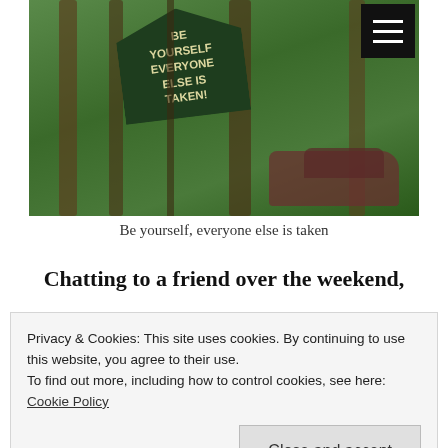[Figure (photo): A painted wooden sign in a forest setting reading 'BE YOURSELF EVERYONE ELSE IS TAKEN!' next to a rusted old car. A hamburger menu icon is visible in the top right corner.]
Be yourself, everyone else is taken
Chatting to a friend over the weekend,
worried she could never fit in or be seen
Privacy & Cookies: This site uses cookies. By continuing to use this website, you agree to their use.
To find out more, including how to control cookies, see here: Cookie Policy